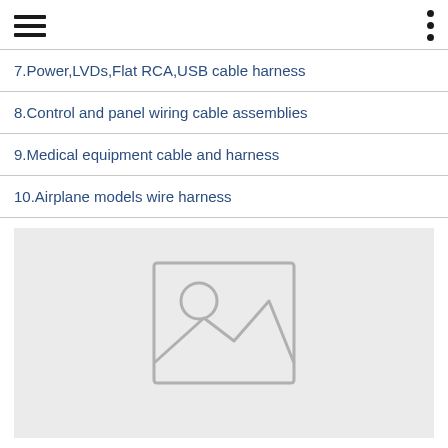Navigation header with hamburger menu and options dots
7.Power,LVDs,Flat RCA,USB cable harness
8.Control and panel wiring cable assemblies
9.Medical equipment cable and harness
10.Airplane models wire harness
[Figure (photo): Placeholder image with mountains and sun icon on light grey background]